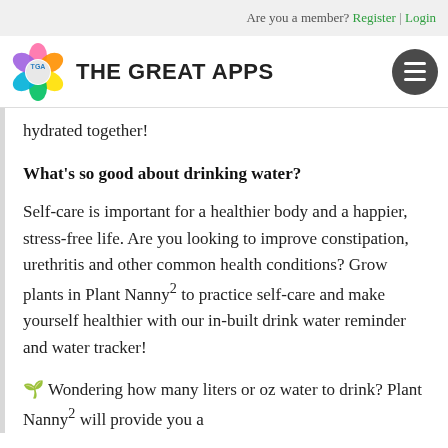Are you a member? Register | Login
[Figure (logo): The Great Apps logo with colorful flower icon and site name]
hydrated together!
What's so good about drinking water?
Self-care is important for a healthier body and a happier, stress-free life. Are you looking to improve constipation, urethritis and other common health conditions? Grow plants in Plant Nanny² to practice self-care and make yourself healthier with our in-built drink water reminder and water tracker!
🌱 Wondering how many liters or oz water to drink? Plant Nanny² will provide you a